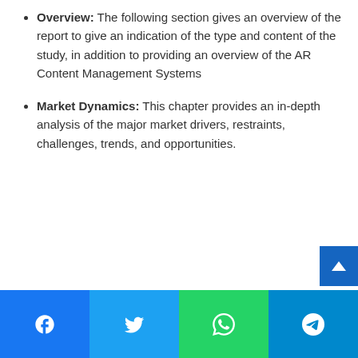Overview: The following section gives an overview of the report to give an indication of the type and content of the study, in addition to providing an overview of the AR Content Management Systems
Market Dynamics: This chapter provides an in-depth analysis of the major market drivers, restraints, challenges, trends, and opportunities.